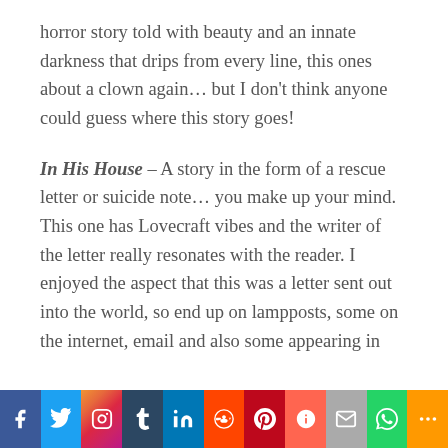horror story told with beauty and an innate darkness that drips from every line, this ones about a clown again... but I don't think anyone could guess where this story goes!
In His House – A story in the form of a rescue letter or suicide note... you make up your mind. This one has Lovecraft vibes and the writer of the letter really resonates with the reader. I enjoyed the aspect that this was a letter sent out into the world, so end up on lampposts, some on the internet, email and also some appearing in
[Figure (infographic): Social media sharing bar with icons for Facebook, Twitter, Instagram, Tumblr, LinkedIn, Reddit, Pinterest, Mix, Email, WhatsApp, and More]